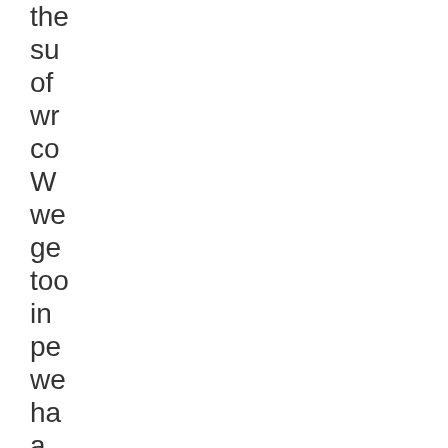the
su
of
wr
co
W
we
ge
too
in
pe
we
ha
a
ric
bo
of